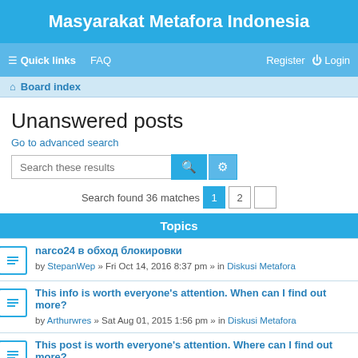Masyarakat Metafora Indonesia
Quick links  FAQ  Register  Login
Board index
Unanswered posts
Go to advanced search
Search these results
Search found 36 matches  1  2
Topics
narco24 в обход блокировки
by StepanWep » Fri Oct 14, 2016 8:37 pm » in Diskusi Metafora
This info is worth everyone's attention. When can I find out more?
by Arthurwres » Sat Aug 01, 2015 1:56 pm » in Diskusi Metafora
This post is worth everyone's attention. Where can I find out more?
by Arthurwres » Sat Aug 01, 2015 5:20 am » in Diskusi Metafora
Right here is the perfect website
by Arthurwres » Sat Jul 18, 2015 3:36 pm » in Diskusi Metafora
Hello, always i used to check weblog